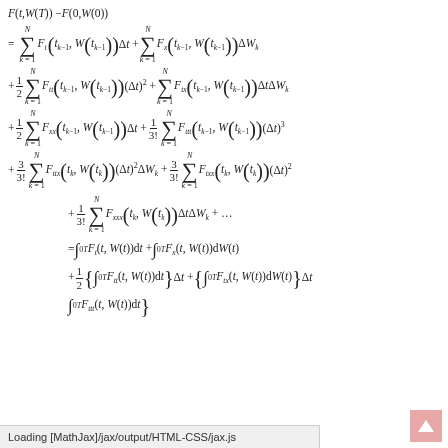Loading [MathJax]/jax/output/HTML-CSS/jax.js